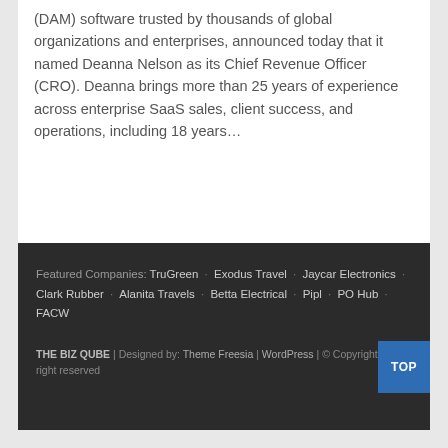(DAM) software trusted by thousands of global organizations and enterprises, announced today that it named Deanna Nelson as its Chief Revenue Officer (CRO). Deanna brings more than 25 years of experience across enterprise SaaS sales, client success, and operations, including 18 years...
Featured Companies: TruGreen · Exodus Travel · Jaycar Electronics · Clark Rubber · Alanita Travels · Betta Electrical · Pipl · PO Hub · FACW
THE BIZ QUBE | Designed by: Theme Freesia | WordPress | © Copyright All right reserved